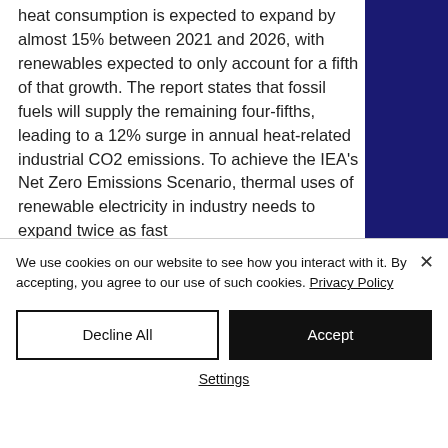heat consumption is expected to expand by almost 15% between 2021 and 2026, with renewables expected to only account for a fifth of that growth. The report states that fossil fuels will supply the remaining four-fifths, leading to a 12% surge in annual heat-related industrial CO2 emissions. To achieve the IEA's Net Zero Emissions Scenario, thermal uses of renewable electricity in industry needs to expand twice as fast
[Figure (photo): Dark navy blue panel/image on the right side of the page]
We use cookies on our website to see how you interact with it. By accepting, you agree to our use of such cookies. Privacy Policy
Decline All
Accept
Settings